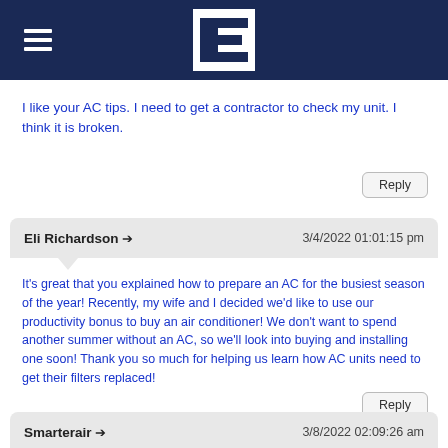[Figure (logo): LE logo — white L and E letters on dark navy background, contained in a white square box with navy border, set in a dark navy header bar with hamburger menu icon on the left]
I like your AC tips. I need to get a contractor to check my unit. I think it is broken.
Eli Richardson → 3/4/2022 01:01:15 pm
It's great that you explained how to prepare an AC for the busiest season of the year! Recently, my wife and I decided we'd like to use our productivity bonus to buy an air conditioner! We don't want to spend another summer without an AC, so we'll look into buying and installing one soon! Thank you so much for helping us learn how AC units need to get their filters replaced!
Smarterair → 3/8/2022 02:09:26 am